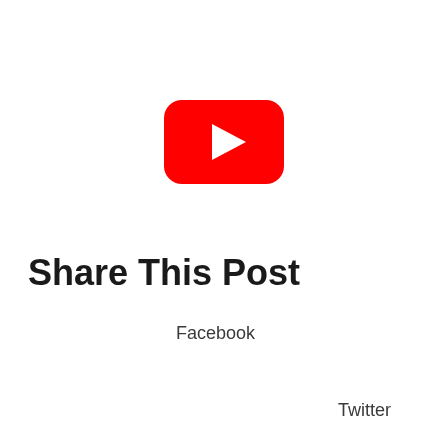[Figure (logo): YouTube logo: red rounded rectangle with white play triangle in center]
Share This Post
Facebook
Twitter